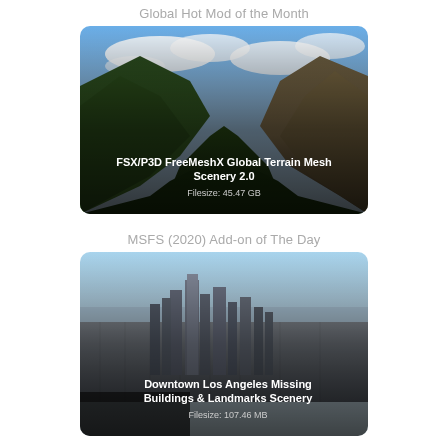Global Hot Mod of the Month
[Figure (photo): Aerial/ground view of a mountain valley with green forested slopes and blue sky with clouds. Overlay text: FSX/P3D FreeMeshX Global Terrain Mesh Scenery 2.0, Filesize: 45.47 GB]
MSFS (2020) Add-on of The Day
[Figure (photo): Aerial view of Downtown Los Angeles skyline with skyscrapers and sprawling city. Overlay text: Downtown Los Angeles Missing Buildings & Landmarks Scenery, Filesize: 107.46 MB]